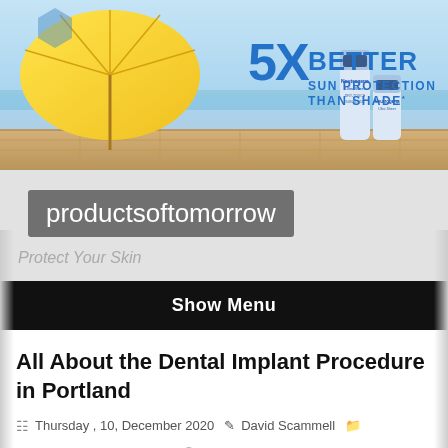[Figure (photo): Neutrogena Ultra Sheer sunscreen advertisement banner with yellow beach umbrella on wooden deck, ocean background, and text '5X BETTER SUN PROTECTION THAN SHADE*']
productsoftomorrow
Protect Your Skin
Show Menu
All About the Dental Implant Procedure in Portland
Thursday , 10, December 2020   David Scammell   Business and Management   Comments Off